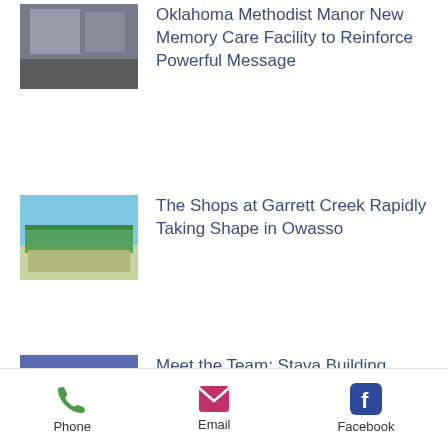[Figure (photo): Thumbnail image partially visible at top, cropped]
Oklahoma Methodist Manor New Memory Care Facility to Reinforce Powerful Message
[Figure (photo): Thumbnail image of The Shops at Garrett Creek, a commercial building with green signage]
The Shops at Garrett Creek Rapidly Taking Shape in Owasso
[Figure (photo): Thumbnail image of Tricia Sharp, office manager, standing in a store setting]
Meet the Team: Stava Building Office Manager Tricia Sharp
[Figure (photo): Partially visible thumbnail for Grace Lutheran Church article]
Grace Lutheran Church Will
Phone   Email   Facebook